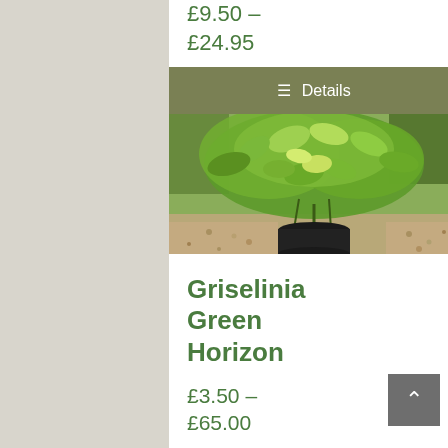£9.50 – £24.95
≡ Details
[Figure (photo): A green shrub plant (Griselinia Green Horizon) in a black pot on a gravel surface]
Griselinia Green Horizon
£3.50 – £65.00